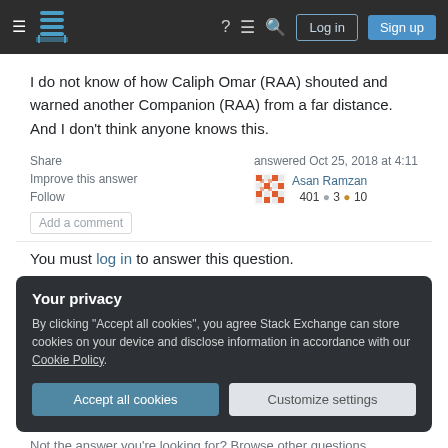Stack Exchange navigation header with Log in and Sign up buttons
I do not know of how Caliph Omar (RAA) shouted and warned another Companion (RAA) from a far distance. And I don't think anyone knows this.
Share  Improve this answer  Follow  Add a comment  answered Oct 25, 2018 at 4:11  Asan Ramzan  401 ● 3 ● 10
You must log in to answer this question.
Your privacy
By clicking "Accept all cookies", you agree Stack Exchange can store cookies on your device and disclose information in accordance with our Cookie Policy.
Accept all cookies  Customize settings
Not the answer you're looking for? Browse other questions